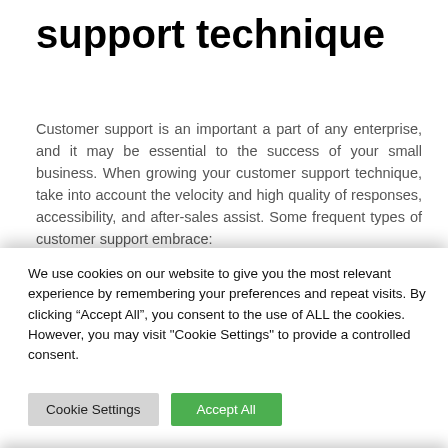support technique
Customer support is an important a part of any enterprise, and it may be essential to the success of your small business. When growing your customer support technique, take into account the velocity and high quality of responses, accessibility, and after-sales assist. Some frequent types of customer support embrace:
Providing immediate messaging or chat assist could
We use cookies on our website to give you the most relevant experience by remembering your preferences and repeat visits. By clicking “Accept All”, you consent to the use of ALL the cookies. However, you may visit "Cookie Settings" to provide a controlled consent.